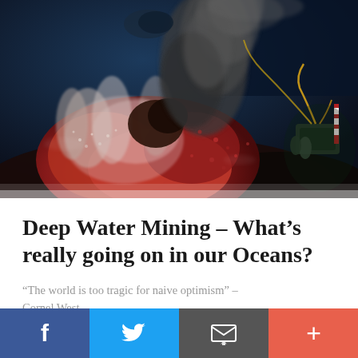[Figure (photo): Underwater deep-sea hydrothermal vent scene with red tubeworms, dark volcanic rock, black smoke plume, and a scuba diver or ROV with equipment visible on the right side. The image shows a colorful and dramatic deep ocean environment.]
Deep Water Mining – What's really going on in our Oceans?
“The world is too tragic for naive optimism” – Cornel West